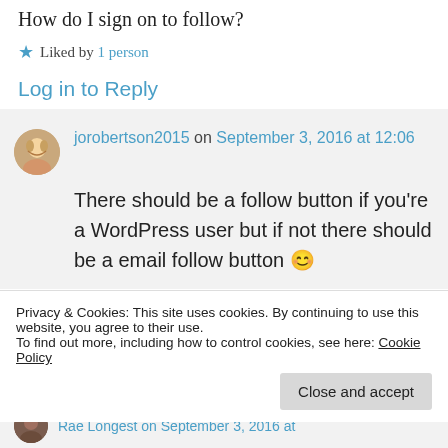How do I sign on to follow?
Liked by 1 person
Log in to Reply
jorobertson2015 on September 3, 2016 at 12:06
There should be a follow button if you're a WordPress user but if not there should be a email follow button 😊
Privacy & Cookies: This site uses cookies. By continuing to use this website, you agree to their use.
To find out more, including how to control cookies, see here: Cookie Policy
Close and accept
Rae Longest on September 3, 2016 at